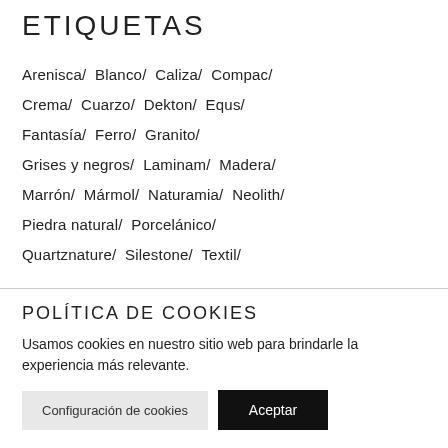ETIQUETAS
Arenisca/  Blanco/  Caliza/  Compac/  Crema/  Cuarzo/  Dekton/  Equs/  Fantasía/  Ferro/  Granito/  Grises y negros/  Laminam/  Madera/  Marrón/  Mármol/  Naturamia/  Neolith/  Piedra natural/  Porcelánico/  Quartznature/  Silestone/  Textil/
POLÍTICA DE COOKIES
Usamos cookies en nuestro sitio web para brindarle la experiencia más relevante.
Configuración de cookies  Aceptar